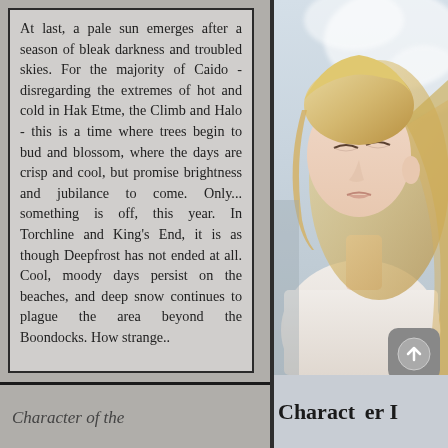At last, a pale sun emerges after a season of bleak darkness and troubled skies. For the majority of Caido - disregarding the extremes of hot and cold in Hak Etme, the Climb and Halo - this is a time where trees begin to bud and blossom, where the days are crisp and cool, but promise brightness and jubilance to come. Only... something is off, this year. In Torchline and King's End, it is as though Deepfrost has not ended at all. Cool, moody days persist on the beaches, and deep snow continues to plague the area beyond the Boondocks. How strange..
[Figure (photo): A young blonde woman with eyes closed, wearing a light pink/white top, photographed against a bright sky background]
Character of the
Character I